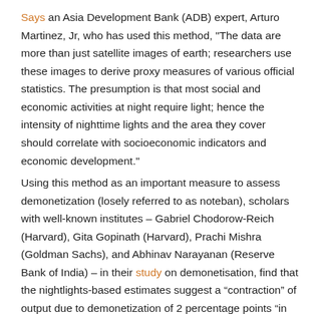Says an Asia Development Bank (ADB) expert, Arturo Martinez, Jr, who has used this method, "The data are more than just satellite images of earth; researchers use these images to derive proxy measures of various official statistics. The presumption is that most social and economic activities at night require light; hence the intensity of nighttime lights and the area they cover should correlate with socioeconomic indicators and economic development."
Using this method as an important measure to assess demonetization (losely referred to as noteban), scholars with well-known institutes – Gabriel Chodorow-Reich (Harvard), Gita Gopinath (Harvard), Prachi Mishra (Goldman Sachs), and Abhinav Narayanan (Reserve Bank of India) – in their study on demonetisation, find that the nightlights-based estimates suggest a “contraction” of output due to demonetization of 2 percentage points “in 2016Q4.”